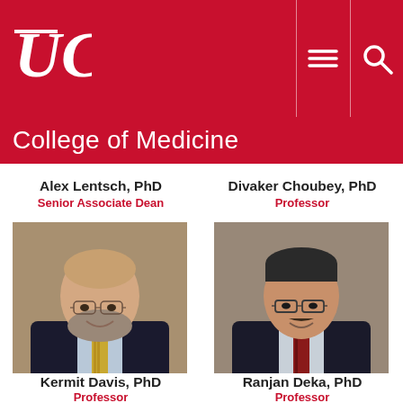[Figure (logo): UC (University of Cincinnati) logo in white on red header bar]
College of Medicine
Alex Lentsch, PhD
Senior Associate Dean
Divaker Choubey, PhD
Professor
[Figure (photo): Headshot of Alex Lentsch, PhD - bald man with beard and glasses wearing dark suit with patterned tie]
[Figure (photo): Headshot of Divaker Choubey, PhD - man with dark hair and glasses wearing dark suit with dark red tie]
Kermit Davis, PhD
Professor
Ranjan Deka, PhD
Professor
[Figure (photo): Partial headshot at bottom left, cropped]
[Figure (photo): Partial headshot at bottom right, cropped]